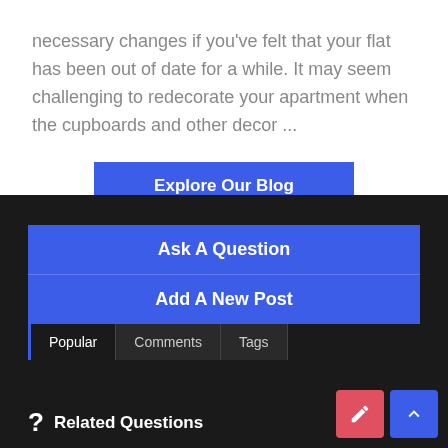necessary changes if you've felt that your flat has been out of date for a while. It may seem challenging to redecorate your apartment when the cupboards and other decor ...
Explore Our Blog
Ask A Question
Add A New Post
Popular
Comments
Tags
? Related Questions